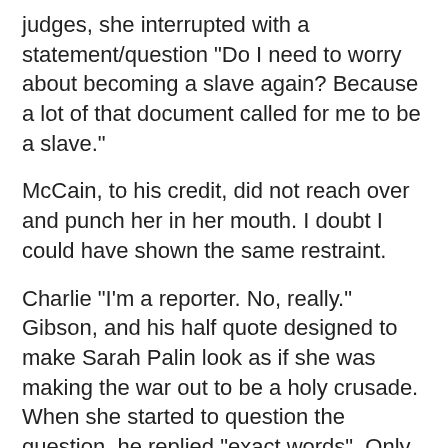judges, she interrupted with a statement/question "Do I need to worry about becoming a slave again? Because a lot of that document called for me to be a slave."
McCain, to his credit, did not reach over and punch her in her mouth. I doubt I could have shown the same restraint.
Charlie "I'm a reporter. No, really." Gibson, and his half quote designed to make Sarah Palin look as if she was making the war out to be a holy crusade. When she started to question the question, he replied "exact words". Only they weren't, and the question went down the memory hole on the west coast broadcast.
I'm sure that there are many, many more examples. My thanks to Dirty Harry's Place for dutifully documenting the celebrity dumbdown. But my point is that Hollywood's desire to lecture to us poor dumb rubes as they talk down a country that they didn't build and do not maintain is going to bite them in the ass. We know who we are. We are the people who build things that the country needs. We are the ones who grow the food. We are the ones who get the water and